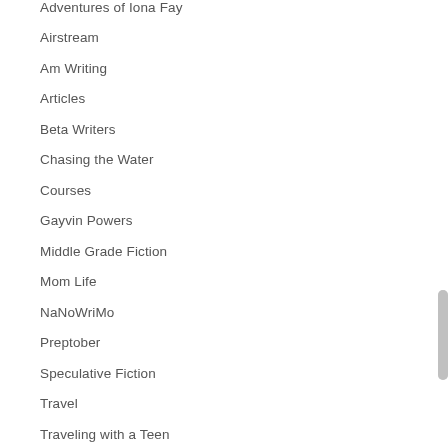Adventures of Iona Fay
Airstream
Am Writing
Articles
Beta Writers
Chasing the Water
Courses
Gayvin Powers
Middle Grade Fiction
Mom Life
NaNoWriMo
Preptober
Speculative Fiction
Travel
Traveling with a Teen
Uncategorized
Work in Progress
Writer Life
Writer's Block
Writing Blog
Writing Challenge